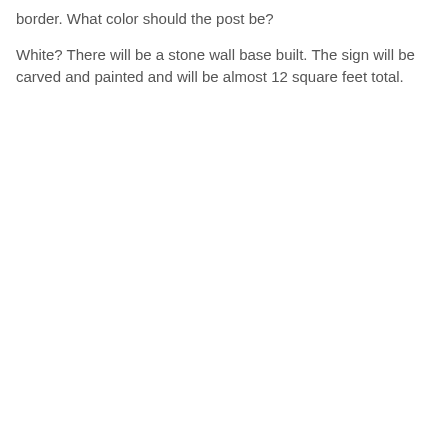border. What color should the post be?
White? There will be a stone wall base built. The sign will be carved and painted and will be almost 12 square feet total.